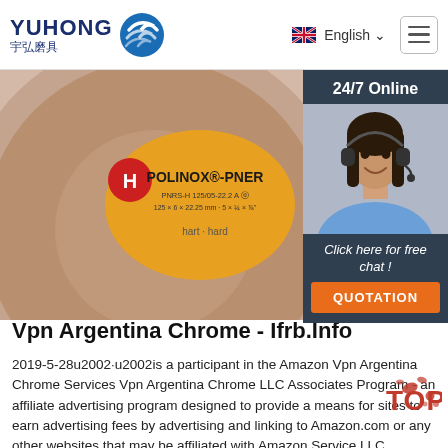YUHONG 宇弘磨具 — English — hamburger menu
[Figure (photo): Close-up of a POLINOX-PNER abrasive grinding wheel with orange/yellow center label, and a sidebar showing a customer service agent with headset and dark hair, with '24/7 Online', 'Click here for free chat!', and an orange QUOTATION button]
Vpn Argentina Chrome - Ifrb.Info
2019-5-28u2002·u2002is a participant in the Amazon Vpn Argentina Chrome Services Vpn Argentina Chrome LLC Associates Program - an affiliate advertising program designed to provide a means for sites to earn advertising fees by advertising and linking to Amazon.com or any other websites that may be affiliated with Amazon Service LLC Associates Program. may get ...